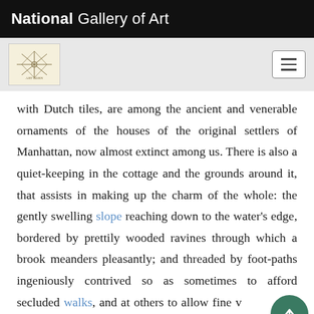National Gallery of Art
[Figure (logo): National Gallery of Art decorative logo/seal on light yellow background, and hamburger menu button on the right]
with Dutch tiles, are among the ancient and venerable ornaments of the houses of the original settlers of Manhattan, now almost extinct among us. There is also a quiet-keeping in the cottage and the grounds around it, that assists in making up the charm of the whole: the gently swelling slope reaching down to the water's edge, bordered by prettily wooded ravines through which a brook meanders pleasantly; and threaded by foot-paths ingeniously contrived so as sometimes to afford secluded walks, and at others to allow fine views of the broad expanse of river scenery." [Fig. 8]